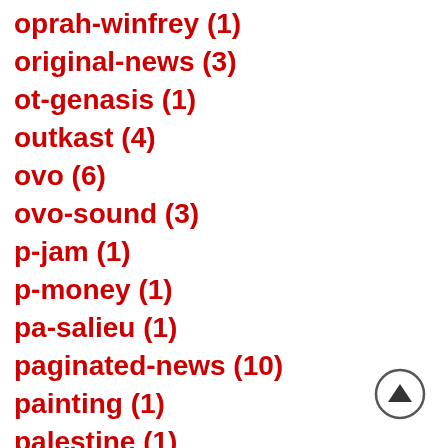oprah-winfrey (1)
original-news (3)
ot-genasis (1)
outkast (4)
ovo (6)
ovo-sound (3)
p-jam (1)
p-money (1)
pa-salieu (1)
paginated-news (10)
painting (1)
palestine (1)
[Figure (other): Scroll-to-top button: circle with upward-pointing triangle arrow]